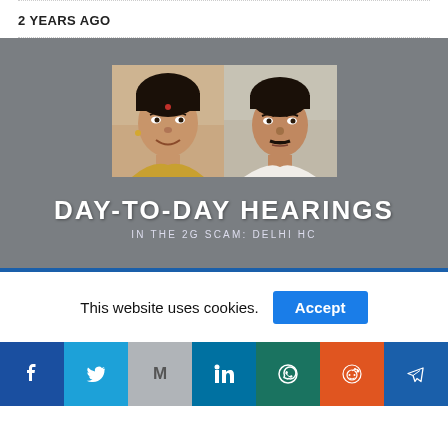2 YEARS AGO
[Figure (photo): Banner image with two portrait photos side by side on grey background, with text 'DAY-TO-DAY HEARINGS' and subtitle 'IN THE 2G SCAM: DELHI HC']
This website uses cookies.
Accept
[Figure (infographic): Social media sharing bar with icons for Facebook, Twitter, Gmail/Email, LinkedIn, WhatsApp, Reddit, Telegram]